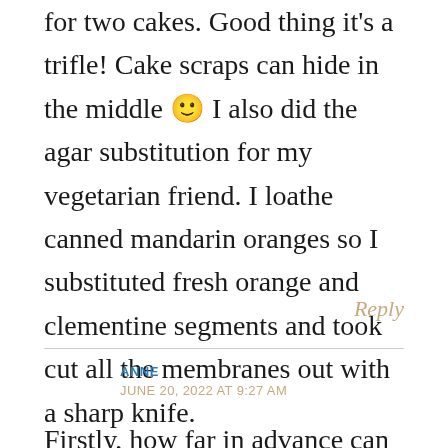for two cakes. Good thing it's a trifle! Cake scraps can hide in the middle 🙂 I also did the agar substitution for my vegetarian friend. I loathe canned mandarin oranges so I substituted fresh orange and clementine segments and took cut all the membranes out with a sharp knife.
Reply
ANNE
JUNE 20, 2022 AT 9:27 AM
Firstly, how far in advance can the